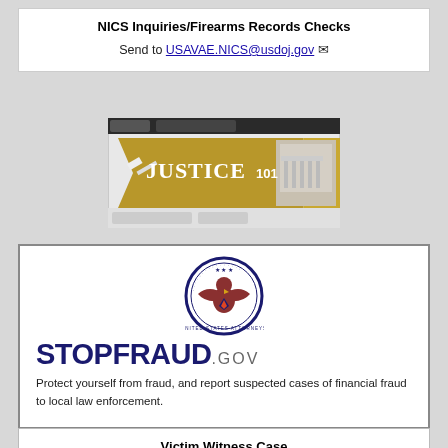NICS Inquiries/Firearms Records Checks
Send to USAVAE.NICS@usdoj.gov
[Figure (screenshot): Justice 101 banner image with gold ribbon and courthouse photo]
[Figure (logo): StopFraud.gov logo with DOJ eagle seal, bold STOPFRAUD.GOV wordmark, and text: Protect yourself from fraud, and report suspected cases of financial fraud to local law enforcement.]
Victim Witness Case Updates